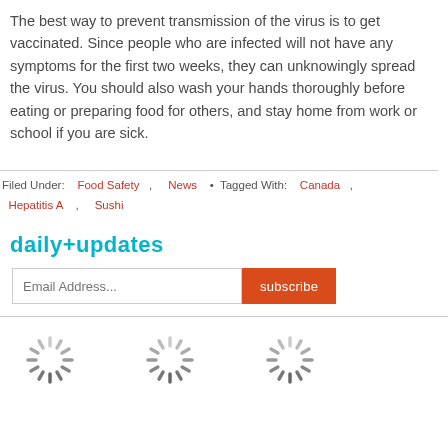The best way to prevent transmission of the virus is to get vaccinated. Since people who are infected will not have any symptoms for the first two weeks, they can unknowingly spread the virus. You should also wash your hands thoroughly before eating or preparing food for others, and stay home from work or school if you are sick.
Filed Under: Food Safety , News • Tagged With: Canada , Hepatitis A , Sushi
daily+updates
Email Address... subscribe
[Figure (other): Three loading spinner icons arranged horizontally]